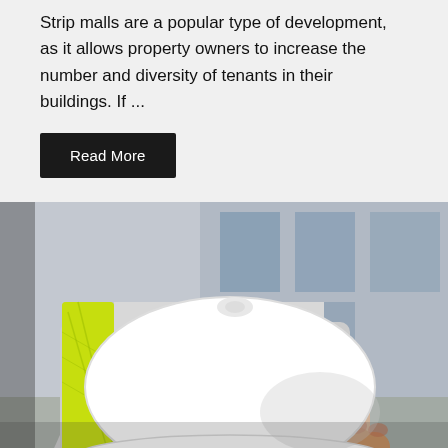Strip malls are a popular type of development, as it allows property owners to increase the number and diversity of tenants in their buildings. If ...
Read More
[Figure (photo): A person in a white long-sleeve shirt and yellow/green high-visibility vest holding a white construction hard hat. A modern building with blue-grey glass facade is visible in the blurred background.]